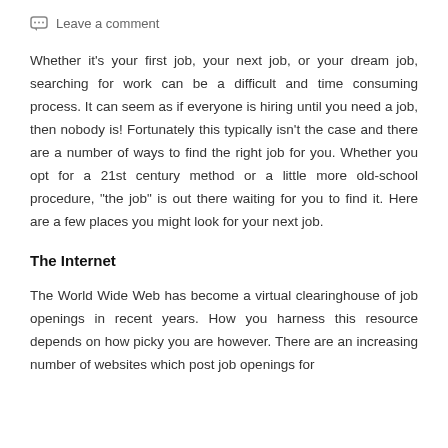Leave a comment
Whether it's your first job, your next job, or your dream job, searching for work can be a difficult and time consuming process. It can seem as if everyone is hiring until you need a job, then nobody is! Fortunately this typically isn't the case and there are a number of ways to find the right job for you. Whether you opt for a 21st century method or a little more old-school procedure, "the job" is out there waiting for you to find it. Here are a few places you might look for your next job.
The Internet
The World Wide Web has become a virtual clearinghouse of job openings in recent years. How you harness this resource depends on how picky you are however. There are an increasing number of websites which post job openings for